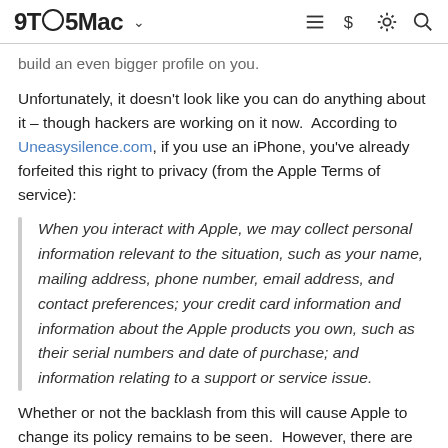9TO5Mac
build an even bigger profile on you.
Unfortunately, it doesn't look like you can do anything about it – though hackers are working on it now. According to Uneasysilence.com, if you use an iPhone, you've already forfeited this right to privacy (from the Apple Terms of service):
When you interact with Apple, we may collect personal information relevant to the situation, such as your name, mailing address, phone number, email address, and contact preferences; your credit card information and information about the Apple products you own, such as their serial numbers and date of purchase; and information relating to a support or service issue.
Whether or not the backlash from this will cause Apple to change its policy remains to be seen. However, there are